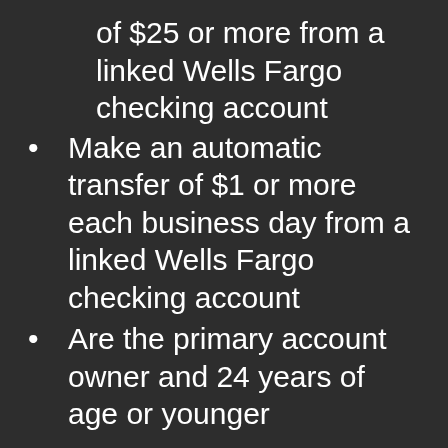of $25 or more from a linked Wells Fargo checking account
Make an automatic transfer of $1 or more each business day from a linked Wells Fargo checking account
Are the primary account owner and 24 years of age or younger
Way2Save earns interest on all balances and features low